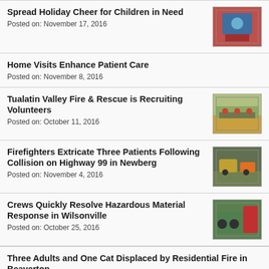Spread Holiday Cheer for Children in Need
Posted on: November 17, 2016
Home Visits Enhance Patient Care
Posted on: November 8, 2016
Tualatin Valley Fire & Rescue is Recruiting Volunteers
Posted on: October 11, 2016
Firefighters Extricate Three Patients Following Collision on Highway 99 in Newberg
Posted on: November 4, 2016
Crews Quickly Resolve Hazardous Material Response in Wilsonville
Posted on: October 25, 2016
Three Adults and One Cat Displaced by Residential Fire in Beaverton